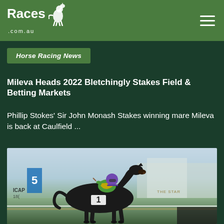Races .com.au
Horse Racing News
Mileva Heads 2022 Bletchingly Stakes Field & Betting Markets
Phillip Stokes' Sir John Monash Stakes winning mare Mileva is back at Caulfield ...
[Figure (photo): A dark bay thoroughbred racehorse wearing number 1 saddlecloth, ridden by a jockey in green and yellow silks with a purple cap, galloping at full speed at what appears to be a racecourse. Signage including LONGINES and THE STAR is visible in the background.]